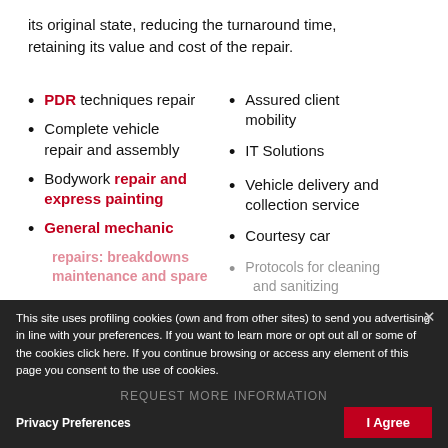its original state, reducing the turnaround time, retaining its value and cost of the repair.
PDR techniques repair
Complete vehicle repair and assembly
Bodywork repair and express painting
General mechanic repairs: breakdowns maintenance and spare
Assured client mobility
IT Solutions
Vehicle delivery and collection service
Courtesy car
Protocols for cleaning and sanitizing
This site uses profiling cookies (own and from other sites) to send you advertising in line with your preferences. If you want to learn more or opt out all or some of the cookies click here. If you continue browsing or access any element of this page you consent to the use of cookies.
Privacy Preferences
REQUEST MORE INFORMATION
I Agree